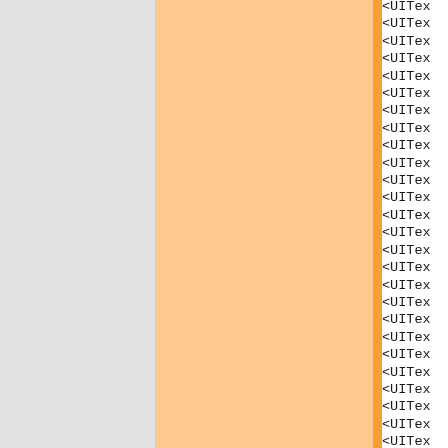[Figure (screenshot): A UI screenshot showing three vertical panels: a light gray panel on the left, a light orange/peach panel in the middle, and an orange border stripe. On the right side, a list of truncated code elements beginning with '<UITex' is visible, repeated approximately 30 times.]
<UITex
<UITex
<UITex
<UITex
<UITex
<UITex
<UITex
<UITex
<UITex
<UITex
<UITex
<UITex
<UITex
<UITex
<UITex
<UITex
<UITex
<UITex
<UITex
<UITex
<UITex
<UITex
<UITex
<UITex
<UITex
<UITex
<UITex
<UITex
<UITex
<UITex
<UITex